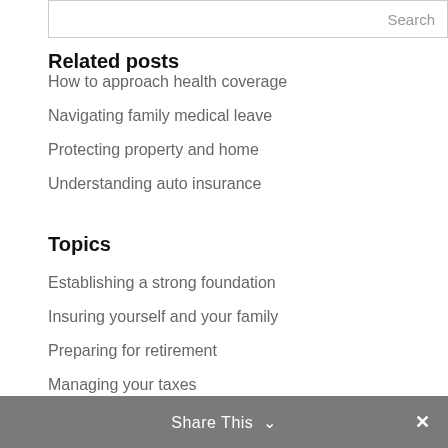Related posts
How to approach health coverage
Navigating family medical leave
Protecting property and home
Understanding auto insurance
Topics
Establishing a strong foundation
Insuring yourself and your family
Preparing for retirement
Managing your taxes
Funding education
Share This ∨  ✕